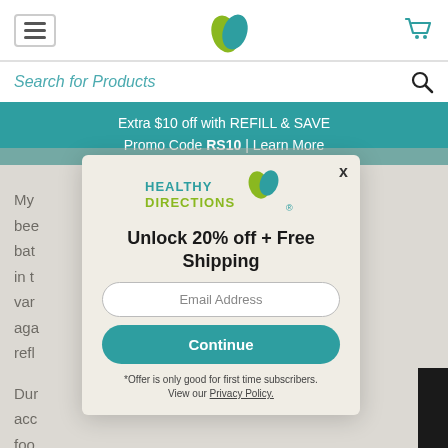Navigation bar with hamburger menu, Healthy Directions leaf logo, and cart icon
Search for Products
Extra $10 off with REFILL & SAVE Promo Code RS10 | Learn More
My bee bat in t var aga refl Dur acc foo pro
[Figure (screenshot): Healthy Directions modal popup with email signup offering 20% off and free shipping]
Unlock 20% off + Free Shipping
Email Address
Continue
*Offer is only good for first time subscribers.
View our Privacy Policy.